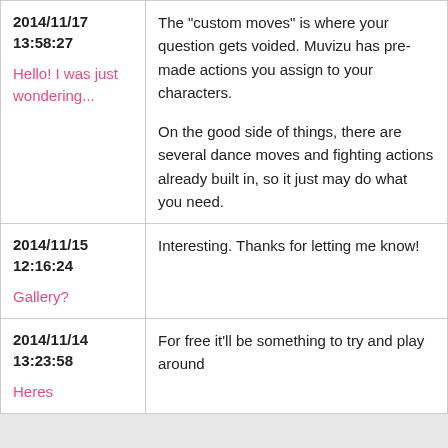| Date/Link | Content |
| --- | --- |
| 2014/11/17 13:58:27
Hello! I was just wondering... | The "custom moves" is where your question gets voided. Muvizu has pre-made actions you assign to your characters.

On the good side of things, there are several dance moves and fighting actions already built in, so it just may do what you need. |
| 2014/11/15 12:16:24
Gallery? | Interesting. Thanks for letting me know! |
| 2014/11/14 13:23:58
Heres | For free it'll be something to try and play around |